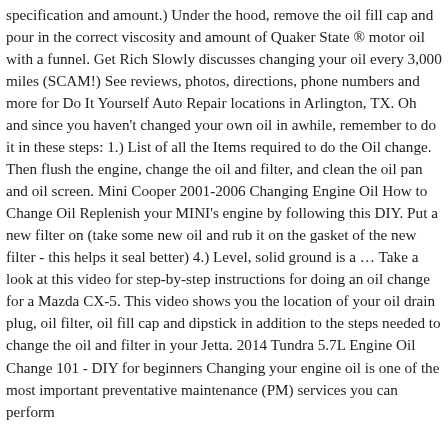specification and amount.) Under the hood, remove the oil fill cap and pour in the correct viscosity and amount of Quaker State ® motor oil with a funnel. Get Rich Slowly discusses changing your oil every 3,000 miles (SCAM!) See reviews, photos, directions, phone numbers and more for Do It Yourself Auto Repair locations in Arlington, TX. Oh and since you haven't changed your own oil in awhile, remember to do it in these steps: 1.) List of all the Items required to do the Oil change. Then flush the engine, change the oil and filter, and clean the oil pan and oil screen. Mini Cooper 2001-2006 Changing Engine Oil How to Change Oil Replenish your MINI's engine by following this DIY. Put a new filter on (take some new oil and rub it on the gasket of the new filter - this helps it seal better) 4.) Level, solid ground is a … Take a look at this video for step-by-step instructions for doing an oil change for a Mazda CX-5. This video shows you the location of your oil drain plug, oil filter, oil fill cap and dipstick in addition to the steps needed to change the oil and filter in your Jetta. 2014 Tundra 5.7L Engine Oil Change 101 - DIY for beginners Changing your engine oil is one of the most important preventative maintenance (PM) services you can perform